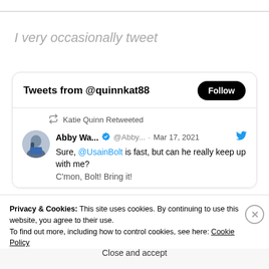I very occasionally tweet
[Figure (screenshot): Twitter widget showing tweets from @quinnkat88 with a Follow button, and a retweet by Katie Quinn of a tweet by Abby Wa... @Abby... dated Mar 17, 2021 saying 'Sure, @UsainBolt is fast, but can he really keep up with me? C'mon, Bolt! Bring it!']
Privacy & Cookies: This site uses cookies. By continuing to use this website, you agree to their use.
To find out more, including how to control cookies, see here: Cookie Policy
Close and accept